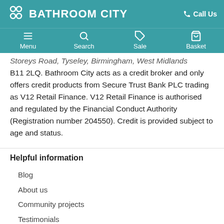BATHROOM CITY | Call Us
Menu | Search | Sale | Basket
Storeys Road, Tyseley, Birmingham, West Midlands B11 2LQ. Bathroom City acts as a credit broker and only offers credit products from Secure Trust Bank PLC trading as V12 Retail Finance. V12 Retail Finance is authorised and regulated by the Financial Conduct Authority (Registration number 204550). Credit is provided subject to age and status.
Helpful information
Blog
About us
Community projects
Testimonials
Privacy policy